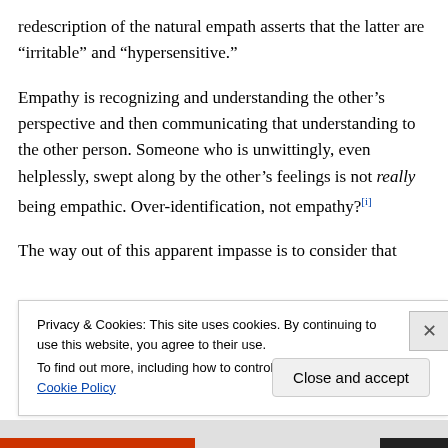redescription of the natural empath asserts that the latter are “irritable” and “hypersensitive.”
Empathy is recognizing and understanding the other’s perspective and then communicating that understanding to the other person. Someone who is unwittingly, even helplessly, swept along by the other’s feelings is not really being empathic. Over-identification, not empathy?[i]
The way out of this apparent impasse is to consider that
Privacy & Cookies: This site uses cookies. By continuing to use this website, you agree to their use.
To find out more, including how to control cookies, see here: Cookie Policy
Close and accept